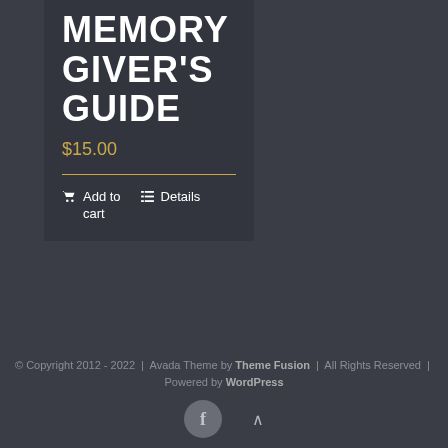The Memory Giver's Guide
$15.00
Add to cart
Details
© Copyright 2012 - 2022  |  Avada Theme by Theme Fusion  |  All Rights Reserved  |  Powered by WordPress